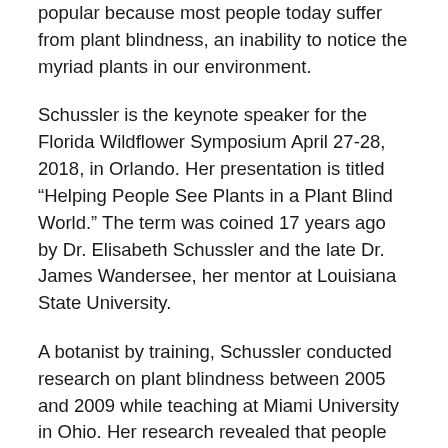popular because most people today suffer from plant blindness, an inability to notice the myriad plants in our environment.
Schussler is the keynote speaker for the Florida Wildflower Symposium April 27-28, 2018, in Orlando. Her presentation is titled “Helping People See Plants in a Plant Blind World.” The term was coined 17 years ago by Dr. Elisabeth Schussler and the late Dr. James Wandersee, her mentor at Louisiana State University.
A botanist by training, Schussler conducted research on plant blindness between 2005 and 2009 while teaching at Miami University in Ohio. Her research revealed that people don’t “see” plants the way they do animals and other environmental features, a troubling finding given